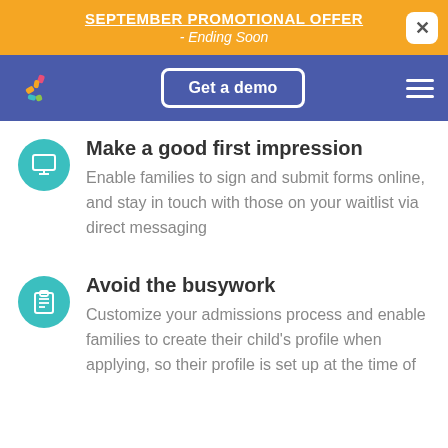SEPTEMBER PROMOTIONAL OFFER - Ending Soon
[Figure (logo): Navigation bar with colorful logo, Get a demo button, and hamburger menu on purple background]
Make a good first impression
Enable families to sign and submit forms online, and stay in touch with those on your waitlist via direct messaging
Avoid the busywork
Customize your admissions process and enable families to create their child's profile when applying, so their profile is set up at the time of